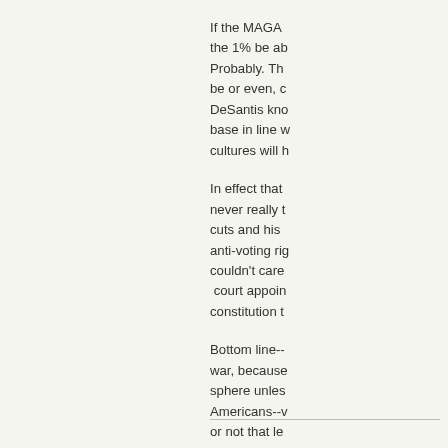If the MAGA the 1% be ab Probably. Th be or even, c DeSantis kno base in line w cultures will h
In effect that never really t cuts and his anti-voting rig couldn't care court appoin constitution t
Bottom line-- war, because sphere unles Americans--v or not that le dominance o